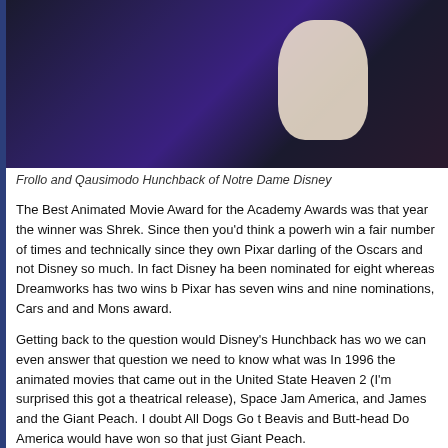[Figure (photo): Screenshot from Disney's Hunchback of Notre Dame animated film showing Frollo and Quasimodo characters]
Frollo and Qausimodo Hunchback of Notre Dame Disney
The Best Animated Movie Award for the Academy Awards was that year the winner was Shrek. Since then you'd think a powerh win a fair number of times and technically since they own Pixar darling of the Oscars and not Disney so much. In fact Disney ha been nominated for eight whereas Dreamworks has two wins b Pixar has seven wins and nine nominations, Cars and and Mons award.
Getting back to the question would Disney's Hunchback has wo we can even answer that question we need to know what was In 1996 the animated movies that came out in the United State Heaven 2 (I'm surprised this got a theatrical release), Space Jam America, and James and the Giant Peach. I doubt All Dogs Go t Beavis and Butt-head Do America would have won so that just Giant Peach.